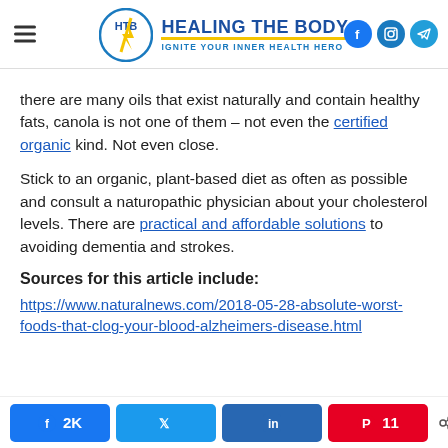[Figure (logo): Healing The Body logo with HTB circle emblem, brand name, tagline 'IGNITE YOUR INNER HEALTH HERO', and social media icons (Facebook, Instagram, Telegram)]
there are many oils that exist naturally and contain healthy fats, canola is not one of them – not even the certified organic kind. Not even close.
Stick to an organic, plant-based diet as often as possible and consult a naturopathic physician about your cholesterol levels. There are practical and affordable solutions to avoiding dementia and strokes.
Sources for this article include:
https://www.naturalnews.com/2018-05-28-absolute-worst-foods-that-clog-your-blood-alzheimers-disease.html